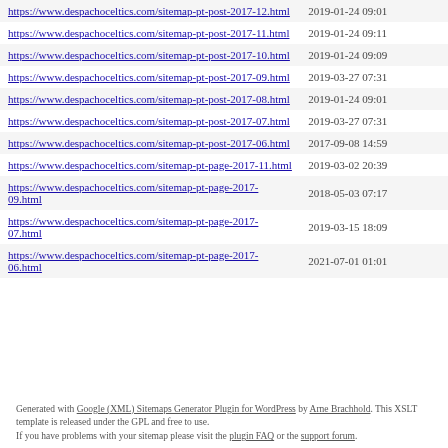| URL | Last Modified |
| --- | --- |
| https://www.despachoceltics.com/sitemap-pt-post-2017-12.html | 2019-01-24 09:01 |
| https://www.despachoceltics.com/sitemap-pt-post-2017-11.html | 2019-01-24 09:11 |
| https://www.despachoceltics.com/sitemap-pt-post-2017-10.html | 2019-01-24 09:09 |
| https://www.despachoceltics.com/sitemap-pt-post-2017-09.html | 2019-03-27 07:31 |
| https://www.despachoceltics.com/sitemap-pt-post-2017-08.html | 2019-01-24 09:01 |
| https://www.despachoceltics.com/sitemap-pt-post-2017-07.html | 2019-03-27 07:31 |
| https://www.despachoceltics.com/sitemap-pt-post-2017-06.html | 2017-09-08 14:59 |
| https://www.despachoceltics.com/sitemap-pt-page-2017-11.html | 2019-03-02 20:39 |
| https://www.despachoceltics.com/sitemap-pt-page-2017-09.html | 2018-05-03 07:17 |
| https://www.despachoceltics.com/sitemap-pt-page-2017-07.html | 2019-03-15 18:09 |
| https://www.despachoceltics.com/sitemap-pt-page-2017-06.html | 2021-07-01 01:01 |
Generated with Google (XML) Sitemaps Generator Plugin for WordPress by Arne Brachhold. This XSLT template is released under the GPL and free to use.
If you have problems with your sitemap please visit the plugin FAQ or the support forum.